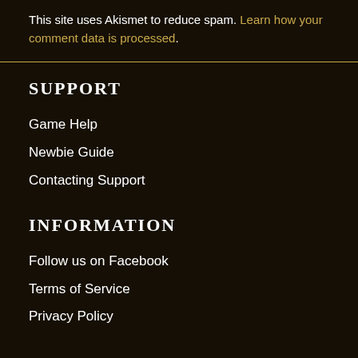This site uses Akismet to reduce spam. Learn how your comment data is processed.
SUPPORT
Game Help
Newbie Guide
Contacting Support
INFORMATION
Follow us on Facebook
Terms of Service
Privacy Policy